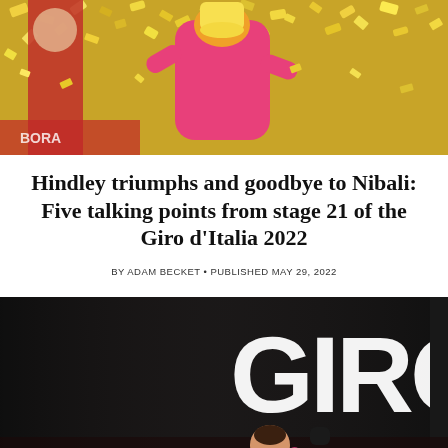[Figure (photo): Cyclist in pink jersey celebrating with golden confetti falling, holding a trophy]
Hindley triumphs and goodbye to Nibali: Five talking points from stage 21 of the Giro d'Italia 2022
BY ADAM BECKET • PUBLISHED MAY 29, 2022
[Figure (photo): Cyclist in pink jersey raising fist in celebration in front of a large GIRO sign backdrop in a dark arena]